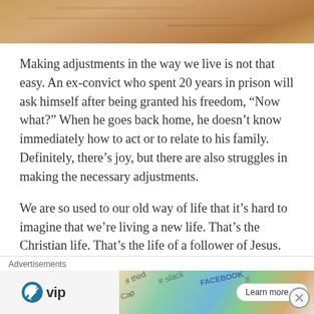[Figure (photo): Top portion of a textured sandy/brown surface image, partially cropped]
Making adjustments in the way we live is not that easy. An ex-convict who spent 20 years in prison will ask himself after being granted his freedom, “Now what?” When he goes back home, he doesn’t know immediately how to act or to relate to his family. Definitely, there’s joy, but there are also struggles in making the necessary adjustments.
We are so used to our old way of life that it’s hard to imagine that we’re living a new life. That’s the Christian life. That’s the life of a follower of Jesus. We now belong in God’s kingdom. But because we are so
[Figure (screenshot): Advertisement banner: WordPress VIP logo on left, colorful cards background in center, Learn more button, close button on right. Label reads Advertisements.]